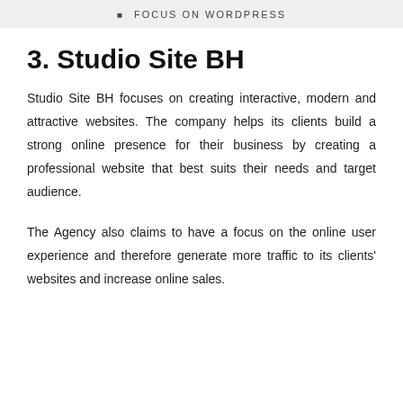FOCUS ON WORDPRESS
3. Studio Site BH
Studio Site BH focuses on creating interactive, modern and attractive websites. The company helps its clients build a strong online presence for their business by creating a professional website that best suits their needs and target audience.
The Agency also claims to have a focus on the online user experience and therefore generate more traffic to its clients' websites and increase online sales.